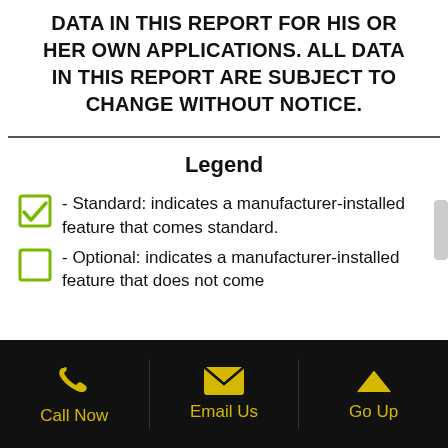DATA IN THIS REPORT FOR HIS OR HER OWN APPLICATIONS. ALL DATA IN THIS REPORT ARE SUBJECT TO CHANGE WITHOUT NOTICE.
Legend
- Standard: indicates a manufacturer-installed feature that comes standard.
- Optional: indicates a manufacturer-installed feature that does not come
Call Now | Email Us | Go Up